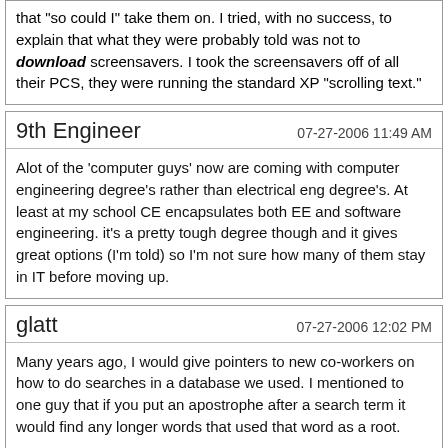that "so could I" take them on. I tried, with no success, to explain that what they were probably told was not to download screensavers. I took the screensavers off of all their PCS, they were running the standard XP "scrolling text."
9th Engineer
07-27-2006 11:49 AM
Alot of the 'computer guys' now are coming with computer engineering degree's rather than electrical eng degree's. At least at my school CE encapsulates both EE and software engineering. it's a pretty tough degree though and it gives great options (I'm told) so I'm not sure how many of them stay in IT before moving up.
glatt
07-27-2006 12:02 PM
Many years ago, I would give pointers to new co-workers on how to do searches in a database we used. I mentioned to one guy that if you put an apostrophe after a search term it would find any longer words that used that word as a root.

A few day later, he came up to me asking "where's that stromboli key again?"
Flint
07-28-2006 09:01 AM
Quote: